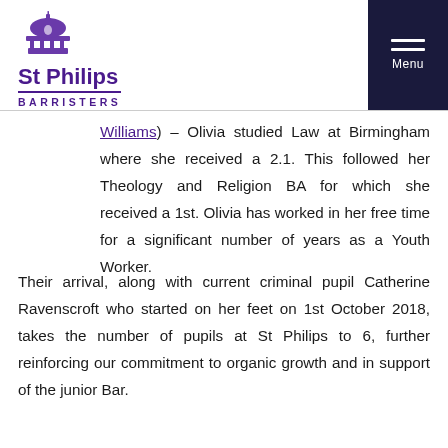St Philips Barristers — Menu (navigation header)
Williams) – Olivia studied Law at Birmingham where she received a 2.1. This followed her Theology and Religion BA for which she received a 1st. Olivia has worked in her free time for a significant number of years as a Youth Worker.
Their arrival, along with current criminal pupil Catherine Ravenscroft who started on her feet on 1st October 2018, takes the number of pupils at St Philips to 6, further reinforcing our commitment to organic growth and in support of the junior Bar.